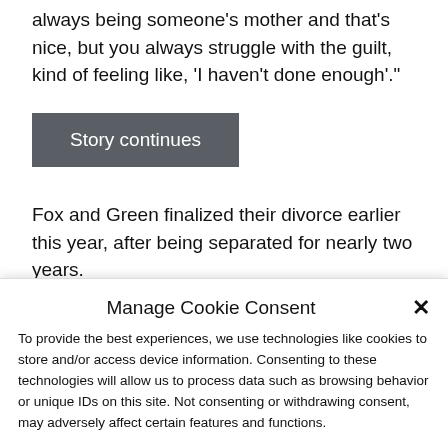always being someone's mother and that's nice, but you always struggle with the guilt, kind of feeling like, ‘I haven’t done enough’."
Story continues
Fox and Green finalized their divorce earlier this year, after being separated for nearly two years.
The model is now engaged to rap Machine Gun Kelly, 32, whose real name is Colton
Manage Cookie Consent
To provide the best experiences, we use technologies like cookies to store and/or access device information. Consenting to these technologies will allow us to process data such as browsing behavior or unique IDs on this site. Not consenting or withdrawing consent, may adversely affect certain features and functions.